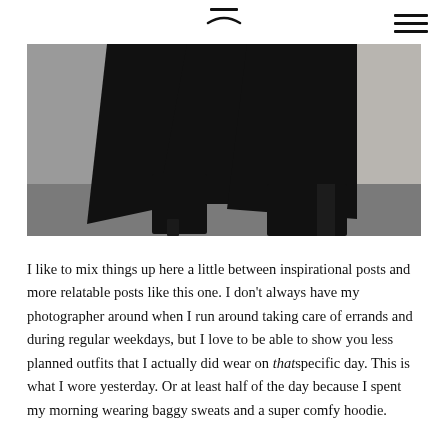[Figure (photo): Partial view of a person from waist down wearing all-black outfit including baggy black top, wide-leg black pants, and black heeled ankle boots, walking on a grey pavement with concrete wall in background.]
I like to mix things up here a little between inspirational posts and more relatable posts like this one. I don't always have my photographer around when I run around taking care of errands and during regular weekdays, but I love to be able to show you less planned outfits that I actually did wear on that specific day. This is what I wore yesterday. Or at least half of the day because I spent my morning wearing baggy sweats and a super comfy hoodie.